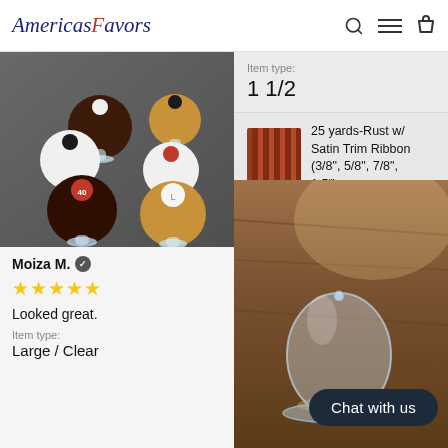AmericasFavors
[Figure (photo): Photo of decorative cake pops/brigadeiros on small clear pedestals, viewed from above on a dark slate surface]
Moiza M. ✓
★★★★★
Looked great.
Item type:
Large / Clear
Item type:
1 1/2
25 yards-Rust w/ Satin Trim Ribbon (3/8", 5/8", 7/8", 1.5")
[Figure (photo): Photo of a small clear glass cloche/dome on a wooden surface, with sunlight casting shadows]
Chat with us